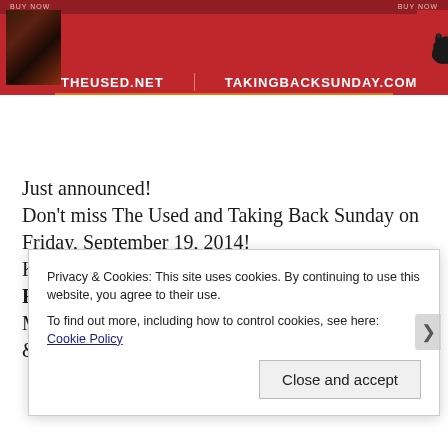[Figure (illustration): Red banner with concert advertisement showing THEUSED.NET and TAKINGBACKSUNDAY.COM URLs, dark left image panel, bear silhouette on right]
Just announced!
Don't miss The Used and Taking Back Sunday on Friday, September 19, 2014!
Kansas City Live! at the Power & Light District
FREE SHOW
Must be 21+
&
Privacy & Cookies: This site uses cookies. By continuing to use this website, you agree to their use.
To find out more, including how to control cookies, see here: Cookie Policy
Close and accept